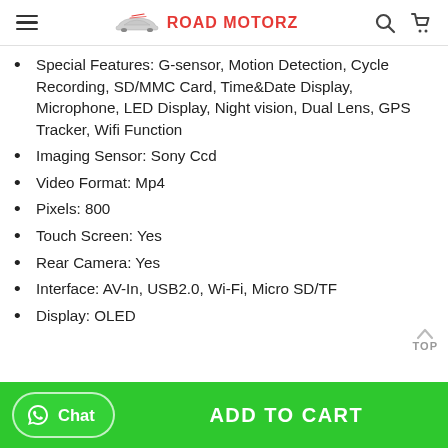ROAD MOTORZ
Special Features: G-sensor, Motion Detection, Cycle Recording, SD/MMC Card, Time&Date Display, Microphone, LED Display, Night vision, Dual Lens, GPS Tracker, Wifi Function
Imaging Sensor: Sony Ccd
Video Format: Mp4
Pixels: 800
Touch Screen: Yes
Rear Camera: Yes
Interface: AV-In, USB2.0, Wi-Fi, Micro SD/TF
Display: OLED
Chat | ADD TO CART